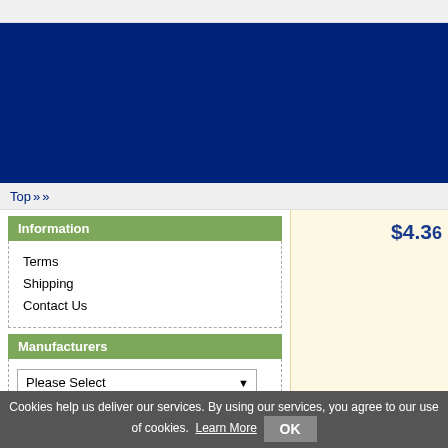Top » »
Information
Terms
Shipping
Contact Us
Manufacturers
Please Select
Categories
(1)
-> (141)
-> (85)
-> (268)
$4.3
Cookies help us deliver our services. By using our services, you agree to our use of cookies.  Learn More  OK